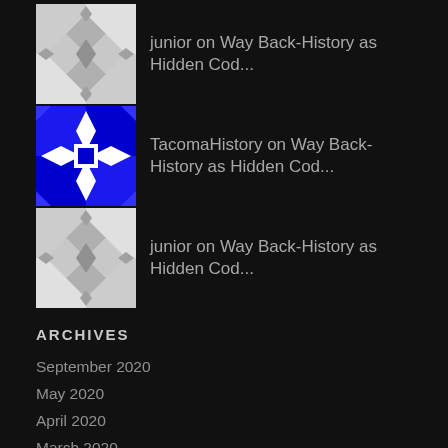[Figure (illustration): Gray quilt pattern avatar thumbnail]
junior on Way Back-History as Hidden Cod...
[Figure (illustration): Blue quilt pattern avatar thumbnail]
TacomaHistory on Way Back-History as Hidden Cod...
[Figure (illustration): Gray quilt pattern avatar thumbnail]
junior on Way Back-History as Hidden Cod...
ARCHIVES
September 2020
May 2020
April 2020
March 2020
February 2020
January 2020
December 2019
November 2019
October 2019
September 2019